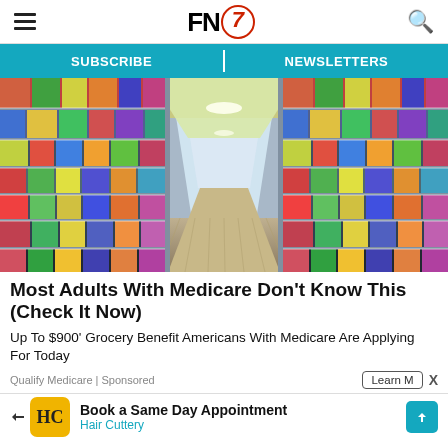FN7 — navigation header with hamburger menu and search icon
SUBSCRIBE | NEWSLETTERS
[Figure (photo): Interior view of a grocery store aisle lined with colorful product shelves on both sides, shot from a low perspective looking toward the back of the store with fluorescent lighting.]
Most Adults With Medicare Don't Know This (Check It Now)
Up To $900' Grocery Benefit Americans With Medicare Are Applying For Today
Qualify Medicare | Sponsored
Learn M  X
Book a Same Day Appointment Hair Cuttery